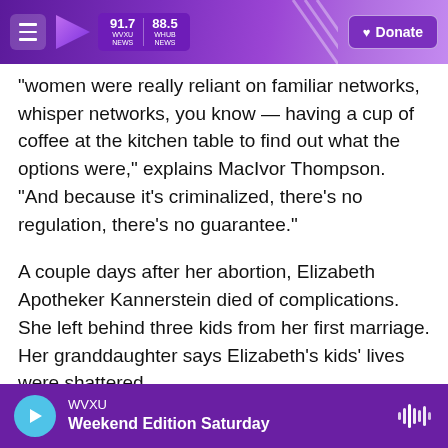WVXU 91.7 NEWS | 88.5 WHUB NEWS | Donate
"women were really reliant on familiar networks, whisper networks, you know — having a cup of coffee at the kitchen table to find out what the options were," explains MacIvor Thompson. "And because it's criminalized, there's no regulation, there's no guarantee."
A couple days after her abortion, Elizabeth Apotheker Kannerstein died of complications. She left behind three kids from her first marriage. Her granddaughter says Elizabeth's kids' lives were shattered.
"The family actually had decided that they would
WVXU — Weekend Edition Saturday